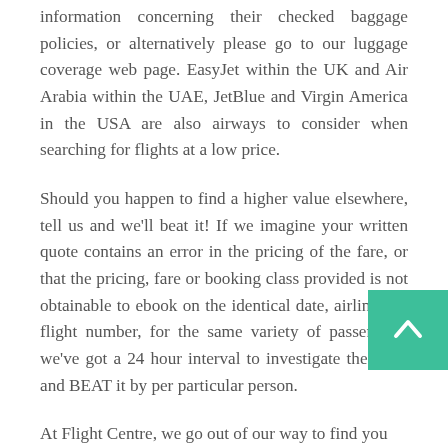information concerning their checked baggage policies, or alternatively please go to our luggage coverage web page. EasyJet within the UK and Air Arabia within the UAE, JetBlue and Virgin America in the USA are also airways to consider when searching for flights at a low price.
Should you happen to find a higher value elsewhere, tell us and we'll beat it! If we imagine your written quote contains an error in the pricing of the fare, or that the pricing, fare or booking class provided is not obtainable to ebook on the identical date, airline and flight number, for the same variety of passengers, we've got a 24 hour interval to investigate the price and BEAT it by per particular person.
At Flight Centre, we go out of our way to find you